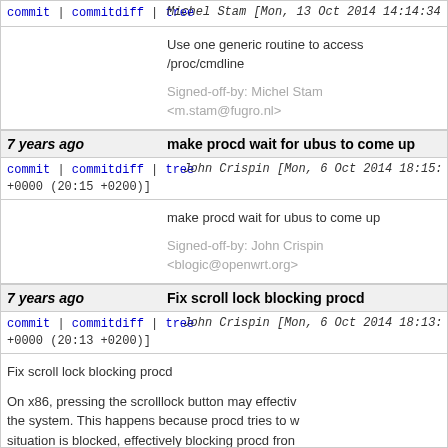commit | commitdiff | tree   Michel Stam [Mon, 13 Oct 2014 14:14:34 +0000 (16:14 +0200)]
Use one generic routine to access /proc/cmdline

Signed-off-by: Michel Stam <m.stam@fugro.nl>
7 years ago   make procd wait for ubus to come up
commit | commitdiff | tree   John Crispin [Mon, 6 Oct 2014 18:15:24 +0000 (20:15 +0200)]
make procd wait for ubus to come up

Signed-off-by: John Crispin <blogic@openwrt.org>
7 years ago   Fix scroll lock blocking procd
commit | commitdiff | tree   John Crispin [Mon, 6 Oct 2014 18:13:28 +0000 (20:13 +0200)]
Fix scroll lock blocking procd

On x86, pressing the scrolllock button may effectively freeze the system. This happens because procd tries to w... situation is blocked, effectively blocking procd from...

This patch puts procd's stderr access into non-blocking, which will prevent the...